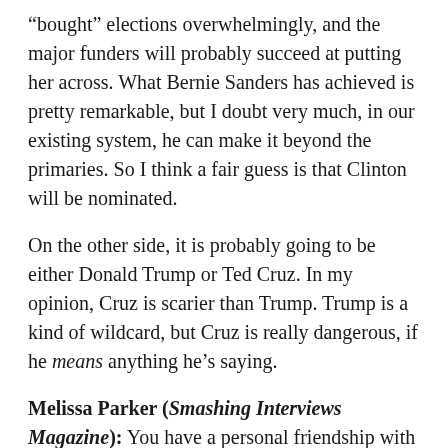“bought” elections overwhelmingly, and the major funders will probably succeed at putting her across. What Bernie Sanders has achieved is pretty remarkable, but I doubt very much, in our existing system, he can make it beyond the primaries. So I think a fair guess is that Clinton will be nominated.
On the other side, it is probably going to be either Donald Trump or Ted Cruz. In my opinion, Cruz is scarier than Trump. Trump is a kind of wildcard, but Cruz is really dangerous, if he means anything he’s saying.
Melissa Parker (Smashing Interviews Magazine): You have a personal friendship with Bernie Sanders?
Noam Chomsky: That’s kind of an exaggeration. When he was mayor of Burlington about 30 years ago, he did invite me up for a couple of days to give some talks at town hall, and I also spent time with him. We talked, and